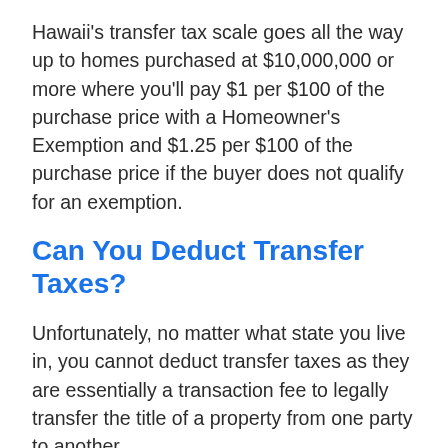Hawaii's transfer tax scale goes all the way up to homes purchased at $10,000,000 or more where you'll pay $1 per $100 of the purchase price with a Homeowner's Exemption and $1.25 per $100 of the purchase price if the buyer does not qualify for an exemption.
Can You Deduct Transfer Taxes?
Unfortunately, no matter what state you live in, you cannot deduct transfer taxes as they are essentially a transaction fee to legally transfer the title of a property from one party to another.